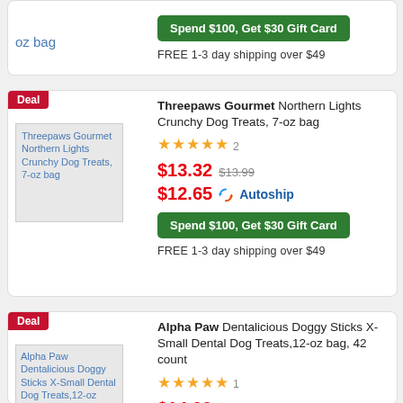oz bag
Spend $100, Get $30 Gift Card
FREE 1-3 day shipping over $49
Deal
[Figure (photo): Product image placeholder: Threepaws Gourmet Northern Lights Crunchy Dog Treats, 7-oz bag]
Threepaws Gourmet Northern Lights Crunchy Dog Treats, 7-oz bag
★★★★★ 2
$13.32 $13.99
$12.65 Autoship
Spend $100, Get $30 Gift Card
FREE 1-3 day shipping over $49
Deal
[Figure (photo): Product image placeholder: Alpha Paw Dentalicious Doggy Sticks X-Small Dental Dog Treats, 12-oz bag, 42 count]
Alpha Paw Dentalicious Doggy Sticks X-Small Dental Dog Treats,12-oz bag, 42 count
★★★★★ 1
$14.99
$14.24 Autoship